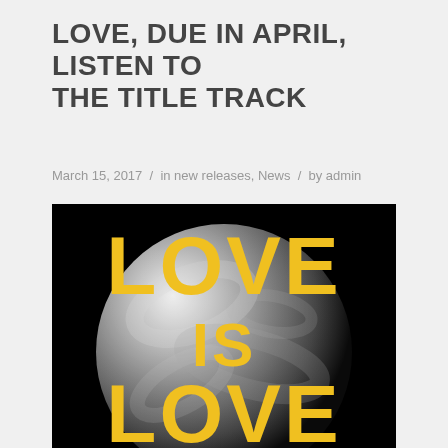LOVE, DUE IN APRIL, LISTEN TO THE TITLE TRACK
March 15, 2017 / in new releases, News / by admin
[Figure (illustration): Album art showing a black and white image of the Earth/globe with bold yellow text overlaid reading 'LOVE IS LOVE' on a black background]